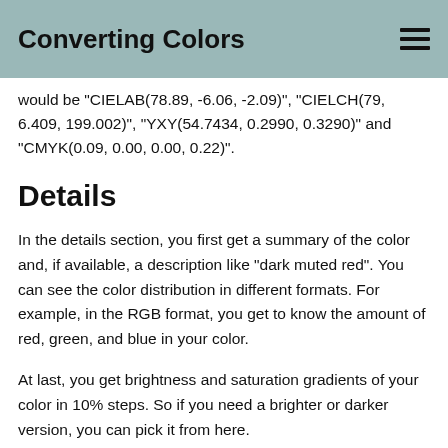Converting Colors
would be "CIELAB(78.89, -6.06, -2.09)", "CIELCH(79, 6.409, 199.002)", "YXY(54.7434, 0.2990, 0.3290)" and "CMYK(0.09, 0.00, 0.00, 0.22)".
Details
In the details section, you first get a summary of the color and, if available, a description like "dark muted red". You can see the color distribution in different formats. For example, in the RGB format, you get to know the amount of red, green, and blue in your color.
At last, you get brightness and saturation gradients of your color in 10% steps. So if you need a brighter or darker version, you can pick it from here.